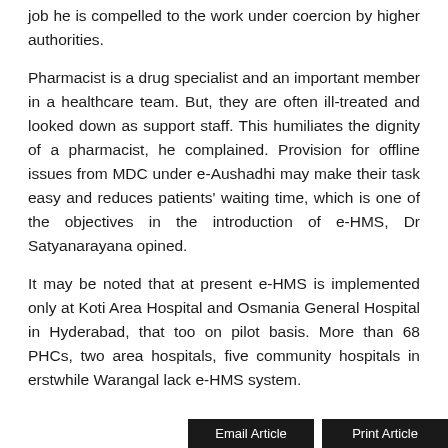job he is compelled to the work under coercion by higher authorities.
Pharmacist is a drug specialist and an important member in a healthcare team. But, they are often ill-treated and looked down as support staff. This humiliates the dignity of a pharmacist, he complained. Provision for offline issues from MDC under e-Aushadhi may make their task easy and reduces patients' waiting time, which is one of the objectives in the introduction of e-HMS, Dr Satyanarayana opined.
It may be noted that at present e-HMS is implemented only at Koti Area Hospital and Osmania General Hospital in Hyderabad, that too on pilot basis. More than 68 PHCs, two area hospitals, five community hospitals in erstwhile Warangal lack e-HMS system.